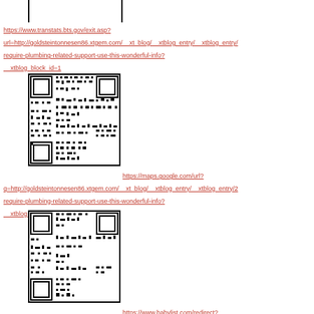[Figure (other): QR code (partial, top cropped)]
https://www.transtats.bts.gov/exit.asp?url=http://goldsteintonnesen86.xtgem.com/__xt_blog/__xtblog_entry/__xtblog_entry/require-plumbing-related-support-use-this-wonderful-info?__xtblog_block_id=1
[Figure (other): QR code]
https://maps.google.com/url?q=http://goldsteintonnesen86.xtgem.com/__xt_blog/__xtblog_entry/__xtblog_entry/2/require-plumbing-related-support-use-this-wonderful-info?__xtblog_block_id=1
[Figure (other): QR code]
https://www.babylist.com/redirect?store_name=Website&url=http://goldsteintonnesen86.xtgem.com/__xtblo/require-plumbing-related-support-use-this-wonderful-info?__xtblog_block_id=1